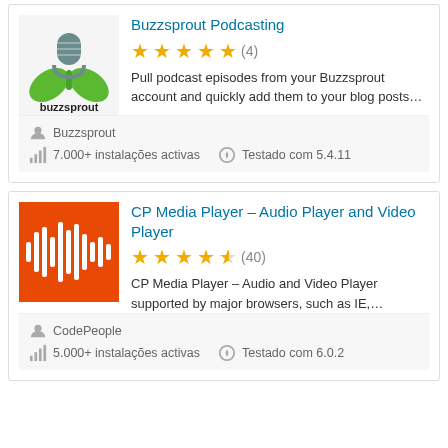[Figure (logo): Buzzsprout logo with green microphone and leaves above text 'buzzsprout']
Buzzsprout Podcasting
★★★★★ (4)
Pull podcast episodes from your Buzzsprout account and quickly add them to your blog posts…
Buzzsprout
7.000+ instalações activas   Testado com 5.4.11
[Figure (logo): CP Media Player orange logo with white soundwave bars]
CP Media Player – Audio Player and Video Player
★★★★½ (40)
CP Media Player – Audio and Video Player supported by major browsers, such as IE,…
CodePeople
5.000+ instalações activas   Testado com 6.0.2